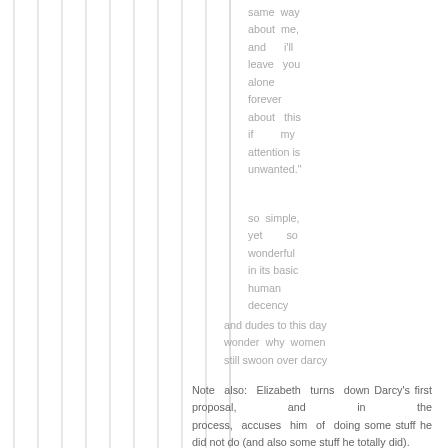same way about me, and i'll leave you alone forever about this if my attention is unwanted."
so simple, yet so wonderful in its basic human decency
and dudes to this day wonder why women still swoon over darcy
Note also: Elizabeth turns down Darcy's first proposal, and in the process, accuses him of doing some stuff he did not do (and also some stuff he totally did).